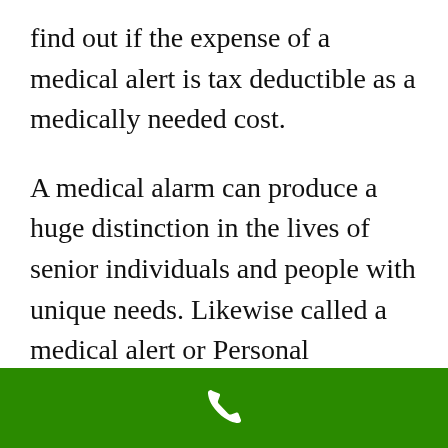find out if the expense of a medical alert is tax deductible as a medically needed cost.
A medical alarm can produce a huge distinction in the lives of senior individuals and people with unique needs. Likewise called a medical alert or Personal Emergency Response System (PERS), it was developed to indicate the existence of a risk requiring instant awareness and summon emergency medical employees. Senior citizens or handicapped individuals
[Figure (other): Green footer bar with white telephone/phone icon centered]